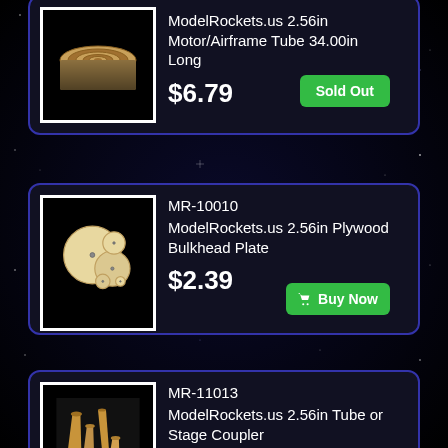[Figure (photo): ModelRockets.us 2.56in Motor/Airframe Tube product card — partially visible at top. Shows stacked tube sections image, price $6.79, Sold Out button.]
[Figure (photo): ModelRockets.us MR-10010 2.56in Plywood Bulkhead Plate product card. Shows plywood discs of various sizes on black background, price $2.39, Buy Now button.]
[Figure (photo): ModelRockets.us MR-11013 2.56in Tube or Stage Coupler product card. Shows cardboard tubes of various sizes on black background, price $3.59, Buy Now button.]